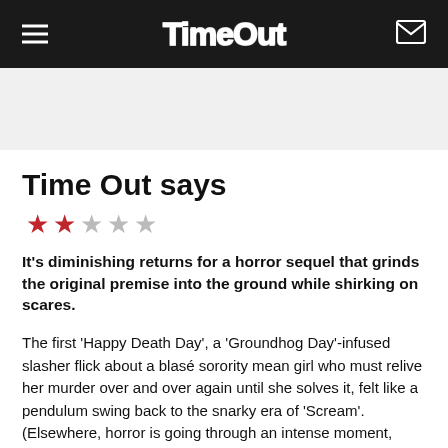Time Out
Time Out says
★★☆☆☆ (2 out of 5 stars)
It's diminishing returns for a horror sequel that grinds the original premise into the ground while shirking on scares.
The first ‘Happy Death Day’, a ‘Groundhog Day’-infused slasher flick about a blasé sorority mean girl who must relive her murder over and over again until she solves it, felt like a pendulum swing back to the snarky era of ‘Scream’. (Elsewhere, horror is going through an intense moment,